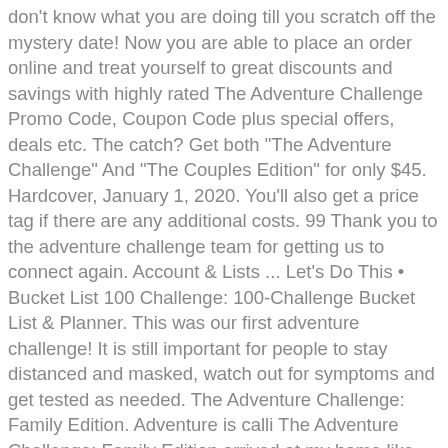don't know what you are doing till you scratch off the mystery date! Now you are able to place an order online and treat yourself to great discounts and savings with highly rated The Adventure Challenge Promo Code, Coupon Code plus special offers, deals etc. The catch? Get both "The Adventure Challenge" And "The Couples Edition" for only $45. Hardcover, January 1, 2020. You'll also get a price tag if there are any additional costs. 99 Thank you to the adventure challenge team for getting us to connect again. Account & Lists ... Let's Do This • Bucket List 100 Challenge: 100-Challenge Bucket List & Planner. This was our first adventure challenge! It is still important for people to stay distanced and masked, watch out for symptoms and get tested as needed. The Adventure Challenge: Family Edition. Adventure is calli The Adventure Challenge: Family Edition arrived at my home like many other books -- in a drab brown shipping box. As recently seen on GMA! Once you scratch-off a spot, you must complete the ... Get both copies of book. But some of the challenges are built